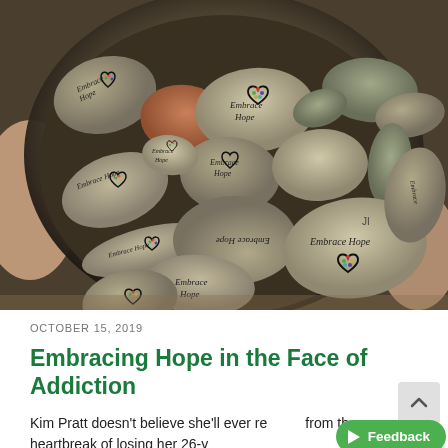[Figure (photo): A pair of hands holding a dark iron bowl filled with many rounded river rocks, each painted or written with 'Embrace Hope' and a colorful polka-dot heart motif. The rocks are various shades of grey, tan, and brown. The image fills the top portion of the page.]
OCTOBER 15, 2019
Embracing Hope in the Face of Addiction
Kim Pratt doesn't believe she'll ever recover from the heartbreak of losing her 26-year-old
[Figure (other): Feedback button - green pill-shaped button with play icon and 'Feedback' text]
[Figure (other): Scroll-to-top button - grey square with upward chevron arrow]